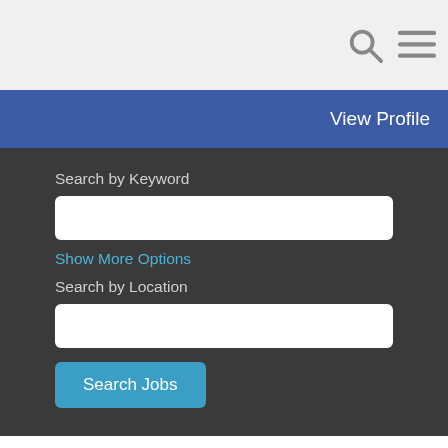[Figure (screenshot): Top navigation bar with search icon and hamburger menu icon on gray background]
View Profile
Search by Keyword
Show More Options
Search by Location
Search Jobs
Select how often (in days) to receive an alert: 7
Create Alert